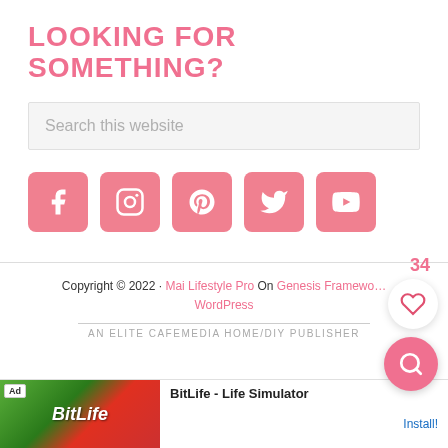LOOKING FOR SOMETHING?
Search this website
[Figure (infographic): Row of 5 social media icon buttons (Facebook, Instagram, Pinterest, Twitter, YouTube) with pink rounded square backgrounds and white icons]
Copyright © 2022 · Mai Lifestyle Pro On Genesis Framework · WordPress
AN ELITE CAFEMEDIA HOME/DIY PUBLISHER
[Figure (infographic): Ad banner: BitLife - Life Simulator with green and red background imagery, BitLife logo text, and Install! link button]